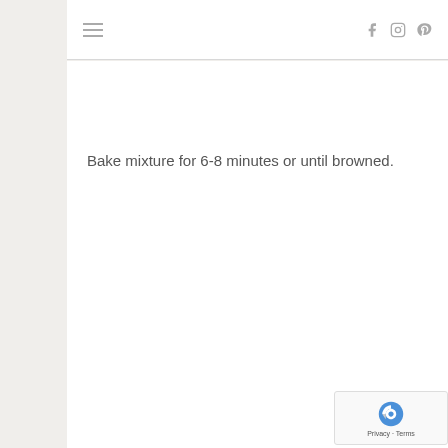≡  f  [instagram]  [pinterest]
Bake mixture for 6-8 minutes or until browned.